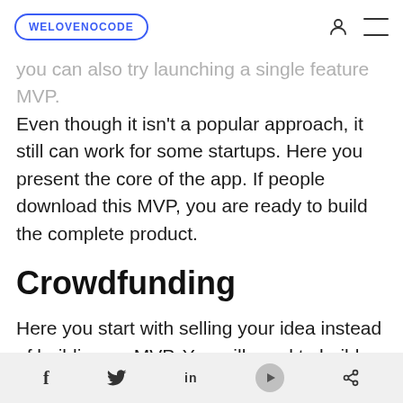WELOVENOCODE
you can also try launching a single feature MVP. Even though it isn't a popular approach, it still can work for some startups. Here you present the core of the app. If people download this MVP, you are ready to build the complete product.
Crowdfunding
Here you start with selling your idea instead of building an MVP. You will need to build a crowdfunding platform for the concept. Create an engaging story about your plans for the product and ask for investments. If people invest in it - you are ready to develop both MVP and the final product. This also helps to gain funding for most
f  🐦  in  ✈  ⋘